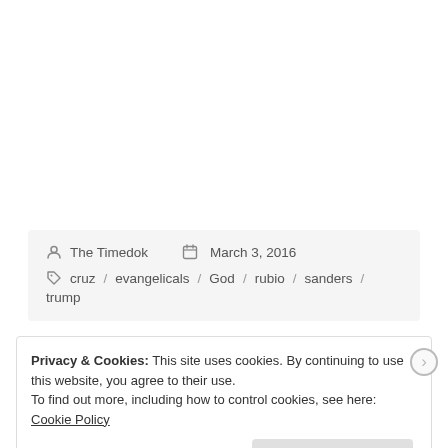The Timedok   March 3, 2016
cruz / evangelicals / God / rubio / sanders / trump
Privacy & Cookies: This site uses cookies. By continuing to use this website, you agree to their use. To find out more, including how to control cookies, see here: Cookie Policy
Close and accept